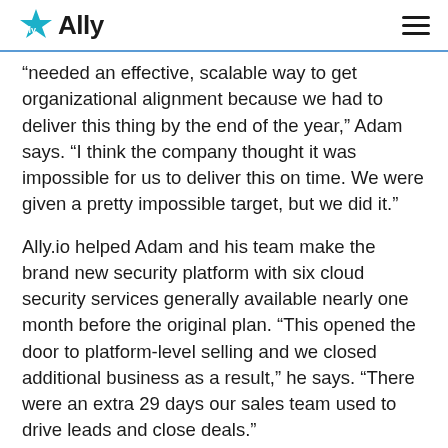Ally
“needed an effective, scalable way to get organizational alignment because we had to deliver this thing by the end of the year,” Adam says. “I think the company thought it was impossible for us to deliver this on time. We were given a pretty impossible target, but we did it.”
Ally.io helped Adam and his team make the brand new security platform with six cloud security services generally available nearly one month before the original plan. “This opened the door to platform-level selling and we closed additional business as a result,” he says. “There were an extra 29 days our sales team used to drive leads and close deals.”